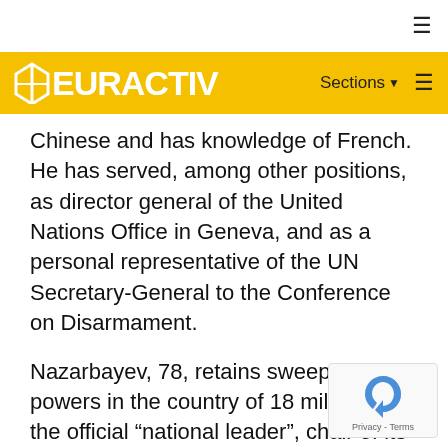EURACTIV
Chinese and has knowledge of French. He has served, among other positions, as director general of the United Nations Office in Geneva, and as a personal representative of the UN Secretary-General to the Conference on Disarmament.
Nazarbayev, 78, retains sweeping powers in the country of 18 million as the official “national leader”, chair of its security council and head of Nur Otan.
The capital Astana, of which he was largely the architect, was renamed Nur-Sultan city on 23 March, and so were the main boulevards in the country’s. It was also decided that a monument in his honor would be erected in the capital.